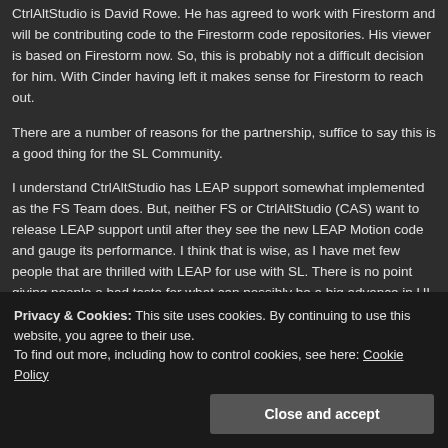CtrlAltStudio is David Rowe. He has agreed to work with Firestorm and will be contributing code to the Firestorm code repositories. His viewer is based on Firestorm now. So, this is probably not a difficult decision for him. With Cinder having left it makes sense for Firestorm to reach out.
There are a number of reasons for the partnership, suffice to say this is a good thing for the SL Community.
I understand CtrlAltStudio has LEAP support somewhat implemented as the FS Team does. But, neither FS or CtrlAltStudio (CAS) want to release LEAP support until after they see the new LEAP Motion code and gauge its performance. I think that is wise, as I have met few people that are thrilled with LEAP for use with SL. There is no point giving people a bad taste for what can possibly be a big advance in UI controls, just because some want it before it is
Privacy & Cookies: This site uses cookies. By continuing to use this website, you agree to their use.
To find out more, including how to control cookies, see here: Cookie Policy
Close and accept